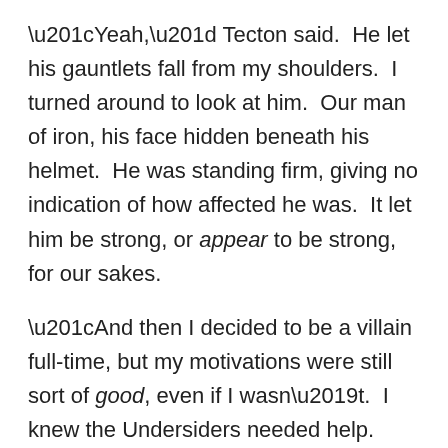“Yeah,” Tecton said.  He let his gauntlets fall from my shoulders.  I turned around to look at him.  Our man of iron, his face hidden beneath his helmet.  He was standing firm, giving no indication of how affected he was.  It let him be strong, or appear to be strong, for our sakes.
“And then I decided to be a villain full-time, but my motivations were still sort of good, even if I wasn’t.  I knew the Undersiders needed help.  That there was something wrong with a lot of them, something missing in them.  And being a part of all of that, it was a way to help Coil, when I thought his plan was something good.”
“You’re not a bad person, Taylor.”
“I’m not… being good or bad was never a thing for me.  Not really.  It was all about the actions I was taking and